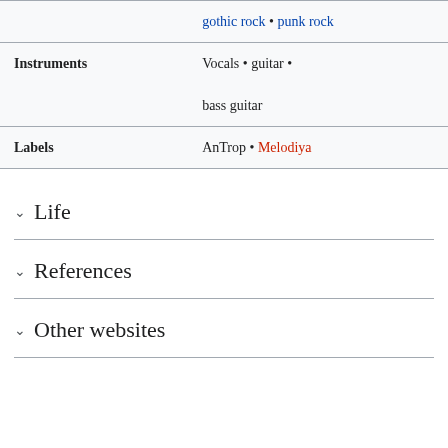| Field | Value |
| --- | --- |
|  | gothic rock • punk rock |
| Instruments | Vocals • guitar • bass guitar |
| Labels | AnTrop • Melodiya |
Life
References
Other websites